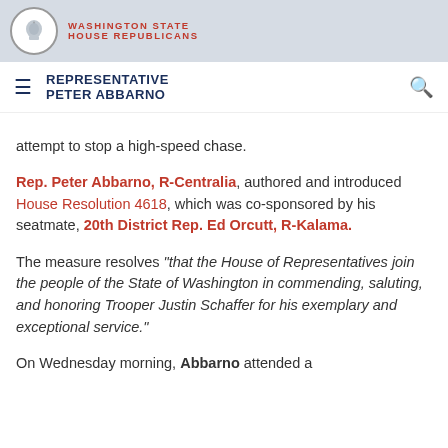WASHINGTON STATE HOUSE REPUBLICANS
REPRESENTATIVE PETER ABBARNO
attempt to stop a high-speed chase.
Rep. Peter Abbarno, R-Centralia, authored and introduced House Resolution 4618, which was co-sponsored by his seatmate, 20th District Rep. Ed Orcutt, R-Kalama.
The measure resolves “that the House of Representatives join the people of the State of Washington in commending, saluting, and honoring Trooper Justin Schaffer for his exemplary and exceptional service.”
On Wednesday morning, Abbarno attended a